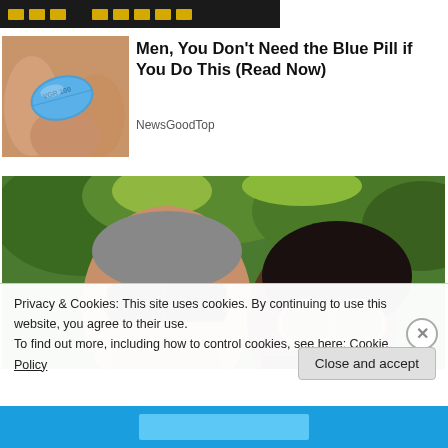[Figure (screenshot): Dark banner with yellow dot/block pattern at top]
[Figure (photo): Close-up photo of fingers holding a blue diamond-shaped pill labeled VGR 100]
Men, You Don't Need the Blue Pill if You Do This (Read Now)
NewsGoodTop
[Figure (photo): Outdoor photo of two people wearing sunglasses with trees and greenery in background]
Privacy & Cookies: This site uses cookies. By continuing to use this website, you agree to their use.
To find out more, including how to control cookies, see here: Cookie Policy
Close and accept